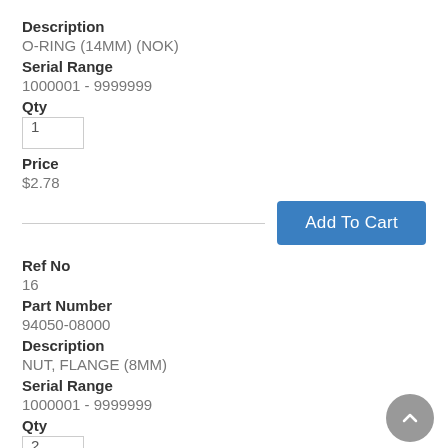Description
O-RING (14MM) (NOK)
Serial Range
1000001 - 9999999
Qty
1
Price
$2.78
Add To Cart
Ref No
16
Part Number
94050-08000
Description
NUT, FLANGE (8MM)
Serial Range
1000001 - 9999999
Qty